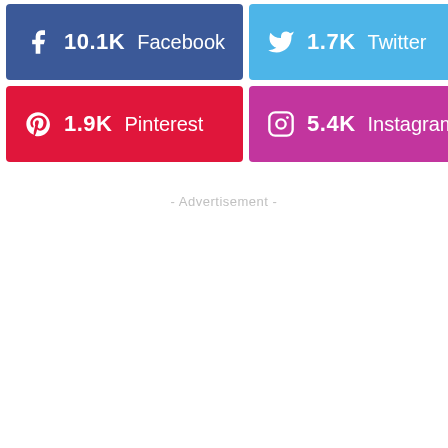[Figure (infographic): Social media share buttons showing follower/share counts: Facebook 10.1K, Twitter 1.7K, Pinterest 1.9K, Instagram 5.4K]
- Advertisement -